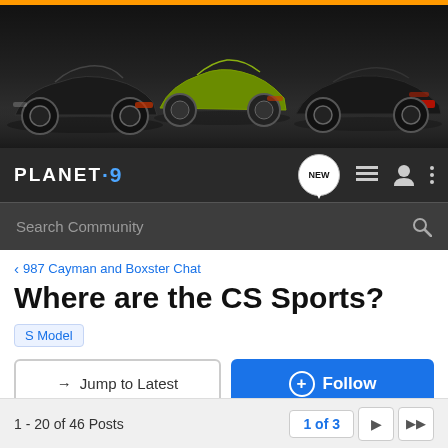[Figure (photo): Banner image showing three Porsche cars (black 911, green Cayman, dark Boxster) on a dark background. Orange bar at top.]
PLANET-9
Search Community
< 987 Cayman and Boxster Chat
Where are the CS Sports?
S Model
→ Jump to Latest
+ Follow
1 - 20 of 46 Posts
1 of 3